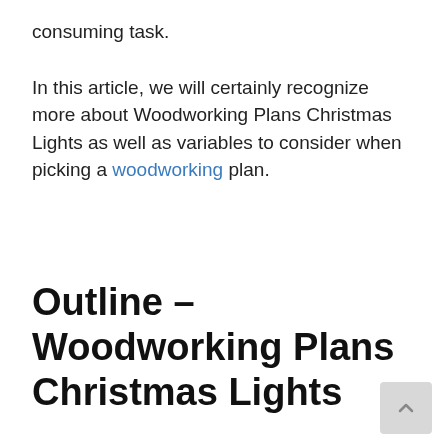consuming task.
In this article, we will certainly recognize more about Woodworking Plans Christmas Lights as well as variables to consider when picking a woodworking plan.
Outline – Woodworking Plans Christmas Lights